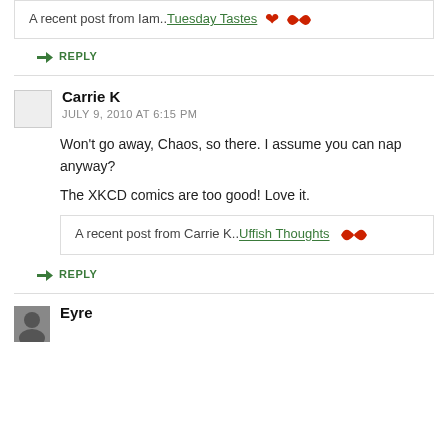A recent post from Iam..Tuesday Tastes
REPLY
Carrie K
JULY 9, 2010 AT 6:15 PM
Won't go away, Chaos, so there. I assume you can nap anyway?
The XKCD comics are too good! Love it.
A recent post from Carrie K..Uffish Thoughts
REPLY
Eyre